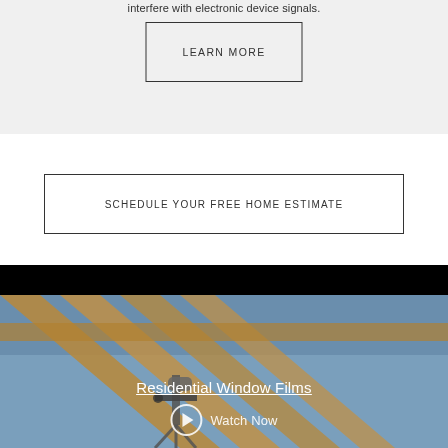interfere with electronic device signals.
LEARN MORE
SCHEDULE YOUR FREE HOME ESTIMATE
[Figure (screenshot): Video thumbnail showing a telescope inside a greenhouse or skylight structure with wooden beams, with title 'Residential Window Films' and a play button labeled 'Watch Now']